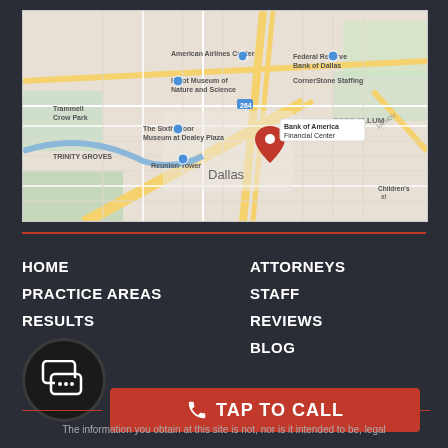[Figure (map): Google Maps screenshot showing downtown Dallas area with a red pin marker at Bank of America Financial Center. Map shows landmarks including Trammell Crow Park, American Airlines Center, Perot Museum of Nature and Science, The Sixth Floor Museum at Dealey Plaza, Reunion Tower, Federal Reserve Bank of Dallas, CornerStone Staffing, TRINITY GROVES, DEEP ELLUM, and Children's hospital. Dallas city label visible in center.]
HOME
PRACTICE AREAS
RESULTS
ATTORNEYS
STAFF
REVIEWS
BLOG
TAP TO CALL
The information you obtain at this site is not, nor is it intended to be, legal